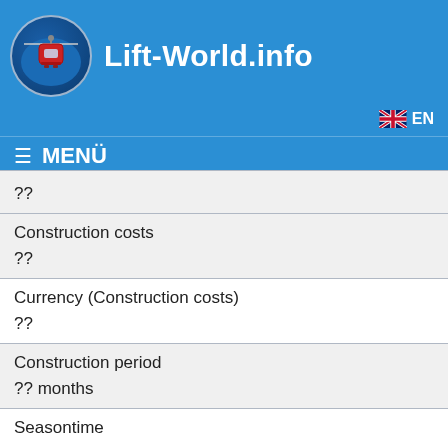Lift-World.info  EN  MENÜ
| ?? |  |
| Construction costs | ?? |
| Currency (Construction costs) | ?? |
| Construction period | ?? months |
| Seasontime | ❄ winter |
| Asset number (Trail map) | ?? |